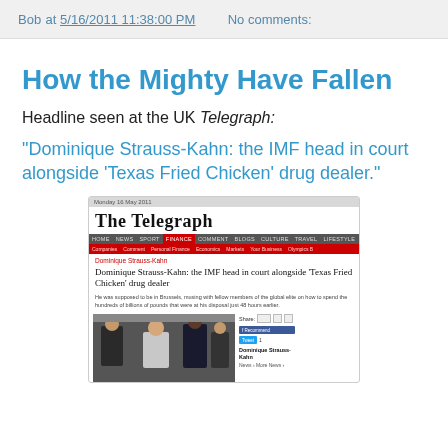Bob at 5/16/2011 11:38:00 PM    No comments:
How the Mighty Have Fallen
Headline seen at the UK Telegraph:
"Dominique Strauss-Kahn: the IMF head in court alongside 'Texas Fried Chicken' drug dealer."
[Figure (screenshot): Screenshot of The Telegraph website showing the article headline about Dominique Strauss-Kahn in court with a 'Texas Fried Chicken' drug dealer, with navigation bar, sub-navigation, article photo of men in court.]